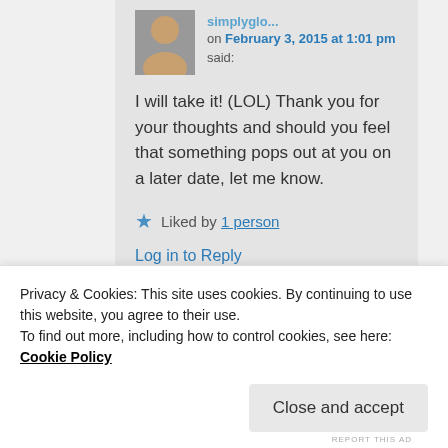simplyglo... on February 3, 2015 at 1:01 pm said:
I will take it! (LOL) Thank you for your thoughts and should you feel that something pops out at you on a later date, let me know.
★ Liked by 1 person
Log in to Reply
Privacy & Cookies: This site uses cookies. By continuing to use this website, you agree to their use.
To find out more, including how to control cookies, see here: Cookie Policy
Close and accept